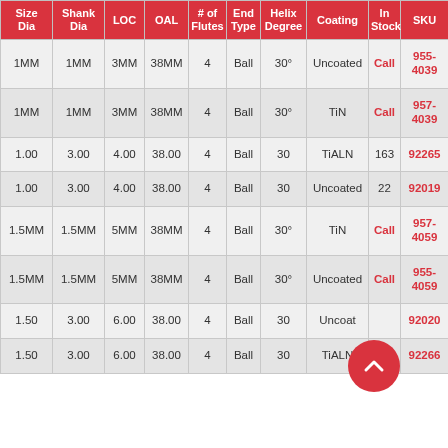| Size Dia | Shank Dia | LOC | OAL | # of Flutes | End Type | Helix Degree | Coating | In Stock | SKU |
| --- | --- | --- | --- | --- | --- | --- | --- | --- | --- |
| 1MM | 1MM | 3MM | 38MM | 4 | Ball | 30° | Uncoated | Call | 955-4039 |
| 1MM | 1MM | 3MM | 38MM | 4 | Ball | 30° | TiN | Call | 957-4039 |
| 1.00 | 3.00 | 4.00 | 38.00 | 4 | Ball | 30 | TiALN | 163 | 92265 |
| 1.00 | 3.00 | 4.00 | 38.00 | 4 | Ball | 30 | Uncoated | 22 | 92019 |
| 1.5MM | 1.5MM | 5MM | 38MM | 4 | Ball | 30° | TiN | Call | 957-4059 |
| 1.5MM | 1.5MM | 5MM | 38MM | 4 | Ball | 30° | Uncoated | Call | 955-4059 |
| 1.50 | 3.00 | 6.00 | 38.00 | 4 | Ball | 30 | Uncoated |  | 92020 |
| 1.50 | 3.00 | 6.00 | 38.00 | 4 | Ball | 30 | TiALN | 57 | 92266 |